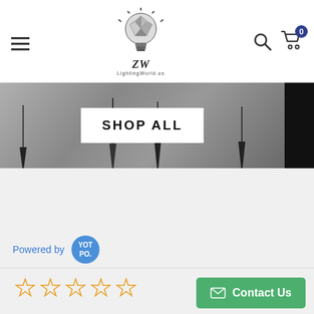LightingWorld.us website header with hamburger menu, logo, search and cart icons
[Figure (screenshot): Website banner showing pendant lamps on gray background with SHOP ALL button overlay]
Powered by YOTPO
[Figure (other): Five empty star rating icons in orange outline]
Contact Us